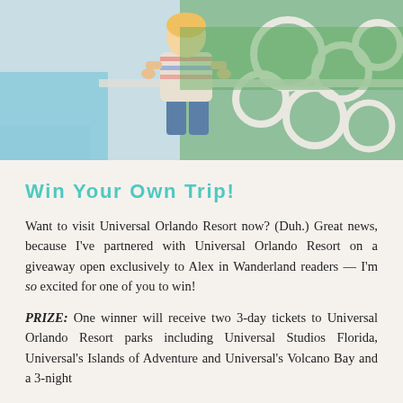[Figure (photo): Young woman in denim shorts and a striped top standing in front of an ornate white wrought iron railing with green foliage behind it.]
Win Your Own Trip!
Want to visit Universal Orlando Resort now? (Duh.) Great news, because I've partnered with Universal Orlando Resort on a giveaway open exclusively to Alex in Wanderland readers — I'm so excited for one of you to win!
PRIZE: One winner will receive two 3-day tickets to Universal Orlando Resort parks including Universal Studios Florida, Universal's Islands of Adventure and Universal's Volcano Bay and a 3-night stay from one of Universal's Resort hotels.